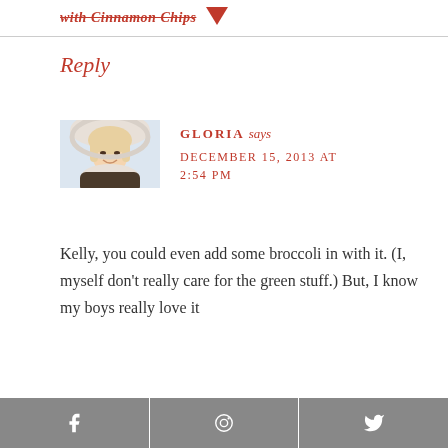with Cinnamon Chips
Reply
[Figure (photo): Profile photo of a blonde woman wearing a fur-lined hooded jacket, smiling, in a snowy outdoor setting.]
GLORIA says
DECEMBER 15, 2013 AT 2:54 PM
Kelly, you could even add some broccoli in with it. (I, myself don't really care for the green stuff.) But, I know my boys really love it
Facebook | Pinterest | Twitter